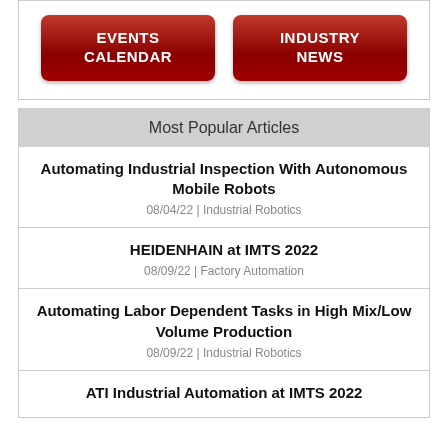[Figure (other): Two red buttons: EVENTS CALENDAR and INDUSTRY NEWS]
Most Popular Articles
Automating Industrial Inspection With Autonomous Mobile Robots
08/04/22 | Industrial Robotics
HEIDENHAIN at IMTS 2022
08/09/22 | Factory Automation
Automating Labor Dependent Tasks in High Mix/Low Volume Production
08/09/22 | Industrial Robotics
ATI Industrial Automation at IMTS 2022